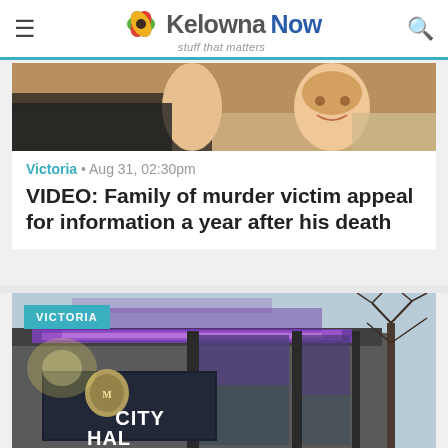KelownaNow - stuff that matters
[Figure (photo): Partial photo of children/people, cropped, warm tones, top of first article card]
Victoria • Aug 31, 02:30pm
VIDEO: Family of murder victim appeal for information a year after his death
[Figure (photo): City Hall building at dusk with purple LED accent lighting on the roof overhang and a City Hall sign with coat of arms in the foreground, trees visible on right]